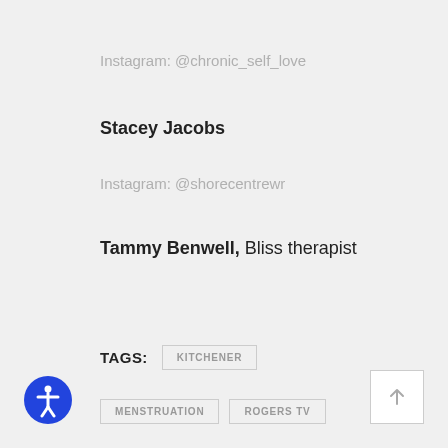Instagram: @chronic_self_love
Stacey Jacobs
Instagram: @shorecentrewr
Tammy Benwell, Bliss therapist
TAGS: KITCHENER
MENSTRUATION    ROGERS TV